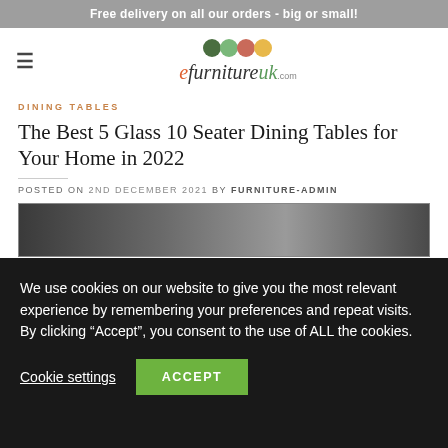Free delivery on all our orders - big or small!
[Figure (logo): eFurnitureUK.com logo with four colored circles (dark green, light green, coral, yellow) above the brand name in stylized text]
DINING TABLES
The Best 5 Glass 10 Seater Dining Tables for Your Home in 2022
POSTED ON 2ND DECEMBER 2021 BY FURNITURE-ADMIN
[Figure (photo): Partial view of a dining room with glass dining table]
We use cookies on our website to give you the most relevant experience by remembering your preferences and repeat visits. By clicking "Accept", you consent to the use of ALL the cookies.
Cookie settings | ACCEPT